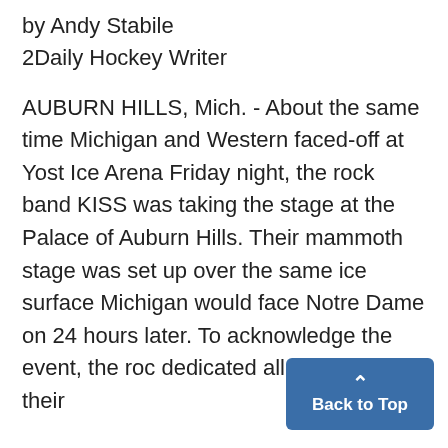by Andy Stabile
2Daily Hockey Writer
AUBURN HILLS, Mich. - About the same time Michigan and Western faced-off at Yost Ice Arena Friday night, the rock band KISS was taking the stage at the Palace of Auburn Hills. Their mammoth stage was set up over the same ice surface Michigan would face Notre Dame on 24 hours later. To acknowledge the event, the roc dedicated all the songs in their